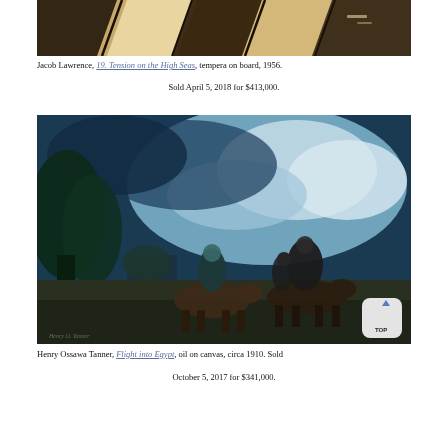[Figure (photo): Partial view of Jacob Lawrence painting '19. Tension on the High Seas', tempera on board, 1956. Abstract forms in brown, black, and cream.]
Jacob Lawrence, 19. Tension on the High Seas, tempera on board, 1956.
Sold April 5, 2018 for $413,000.
[Figure (photo): Henry Ossawa Tanner, Flight into Egypt, oil on canvas, circa 1910. Shows figures on donkeys at night with dramatic blue sky and dark trees.]
Henry Ossawa Tanner, Flight into Egypt, oil on canvas, circa 1910. Sold October 5, 2017 for $341,000.
October 5, 2017 for $341,000.